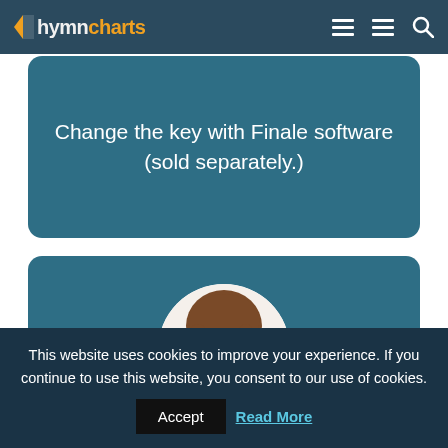hymncharts — navigation bar
Change the key with Finale software (sold separately.)
[Figure (photo): Circular cropped photo of a woman with brown hair looking downward, set against a teal/dark-blue card background]
This website uses cookies to improve your experience. If you continue to use this website, you consent to our use of cookies. Accept  Read More